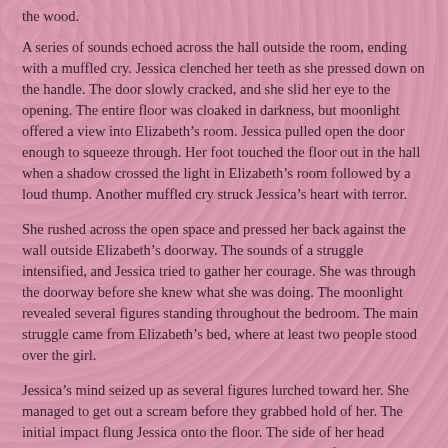the wood.
A series of sounds echoed across the hall outside the room, ending with a muffled cry. Jessica clenched her teeth as she pressed down on the handle. The door slowly cracked, and she slid her eye to the opening. The entire floor was cloaked in darkness, but moonlight offered a view into Elizabeth’s room. Jessica pulled open the door enough to squeeze through. Her foot touched the floor out in the hall when a shadow crossed the light in Elizabeth’s room followed by a loud thump. Another muffled cry struck Jessica’s heart with terror.
She rushed across the open space and pressed her back against the wall outside Elizabeth’s doorway. The sounds of a struggle intensified, and Jessica tried to gather her courage. She was through the doorway before she knew what she was doing. The moonlight revealed several figures standing throughout the bedroom. The main struggle came from Elizabeth’s bed, where at least two people stood over the girl.
Jessica’s mind seized up as several figures lurched toward her. She managed to get out a scream before they grabbed hold of her. The initial impact flung Jessica onto the floor. The side of her head smacked the ground, and her vision blurred and then filled with sparkling lights.
She tried to yell again, but something was forced into her mouth the moment she opened it. Confusion erupted within the room as all of the shadows moved at once. Jessica made one last attempt to roll over when a vicious strike caught her on the back of the head and everything went dark.